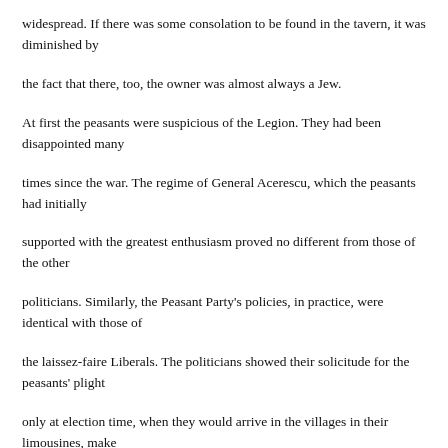widespread. If there was some consolation to be found in the tavern, it was diminished by the fact that there, too, the owner was almost always a Jew.

At first the peasants were suspicious of the Legion. They had been disappointed many times since the war. The regime of General Acerescu, which the peasants had initially supported with the greatest enthusiasm proved no different from those of the other politicians. Similarly, the Peasant Party's policies, in practice, were identical with those of the laissez-faire Liberals. The politicians showed their solicitude for the peasants' plight only at election time, when they would arrive in the villages in their limousines, make flowery speeches filled with nebulous promises, and then roar off.

Codereanu and his Legionaries quickly dispelled the doubts of the rural folk. They made no promises, nor did they ask for support. Instead, marching or riding on horseback into the villages, singing the songs of Romania's heroic past, they established their kinship with the impoverished farmers by pitching in and helping wherever they were needed. The nests